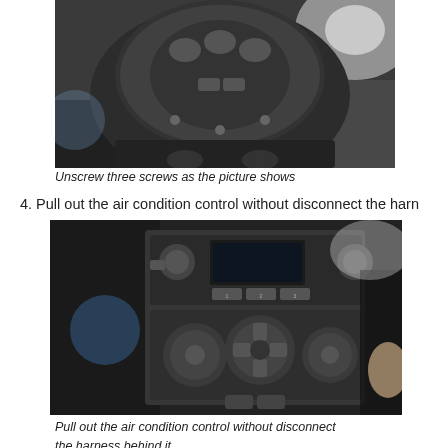[Figure (photo): Car interior center console showing steering wheel area with circular control panel, viewed from above. Three screws visible on the panel.]
Unscrew three screws as the picture shows
4. Pull out the air condition control without disconnect the harness
[Figure (photo): Car dashboard center console showing the air condition control unit partially pulled out, with radio/AC controls visible. A hand is seen at the right side.]
Pull out the air condition control without disconnect the harness behind it